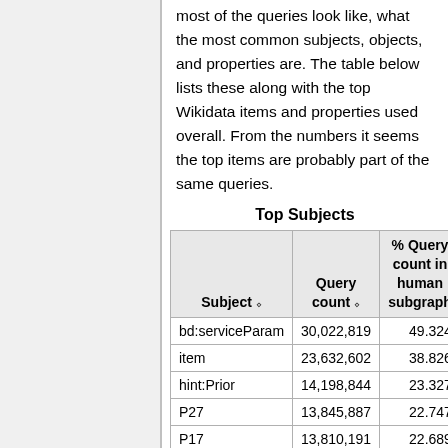most of the queries look like, what the most common subjects, objects, and properties are. The table below lists these along with the top Wikidata items and properties used overall. From the numbers it seems the top items are probably part of the same queries.
Top Subjects
| Subject | Query count | % Query count in human subgraph |
| --- | --- | --- |
| bd:serviceParam | 30,022,819 | 49.324 |
| item | 23,632,602 | 38.826 |
| hint:Prior | 14,198,844 | 23.327 |
| P27 | 13,845,887 | 22.747 |
| P17 | 13,810,191 | 22.689 |
| artislean | 13,810,172 | 22.689 |